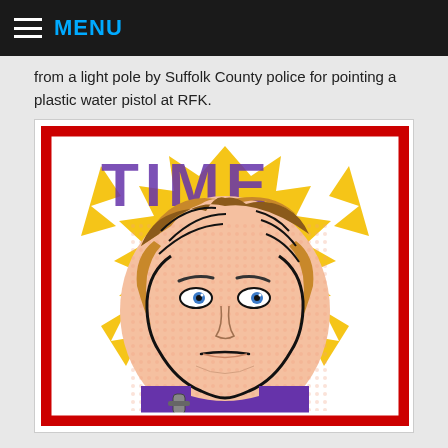MENU
from a light pole by Suffolk County police for pointing a plastic water pistol at RFK.
[Figure (illustration): Pop-art style illustration resembling a Roy Lichtenstein painting used as a TIME magazine cover. The image shows a comic-book style face of a man with brown hair against a yellow starburst background on a red cover, with the word TIME in large purple letters across the top.]